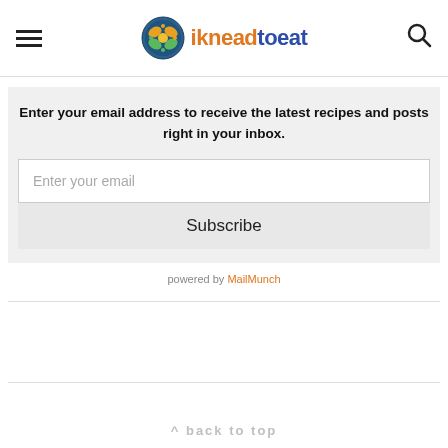ikneadtoeat
Enter your email address to receive the latest recipes and posts right in your inbox.
Enter your email
Subscribe
powered by MailMunch
^ back to top